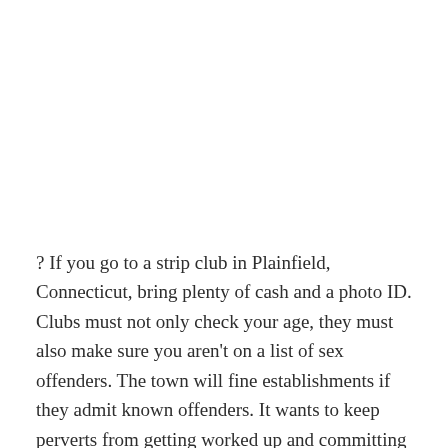? If you go to a strip club in Plainfield, Connecticut, bring plenty of cash and a photo ID. Clubs must not only check your age, they must also make sure you aren't on a list of sex offenders. The town will fine establishments if they admit known offenders. It wants to keep perverts from getting worked up and committing sex crimes. But strip club owner Joseph Quinn says if that's the logic behind the law, it should also require cable companies to conduct